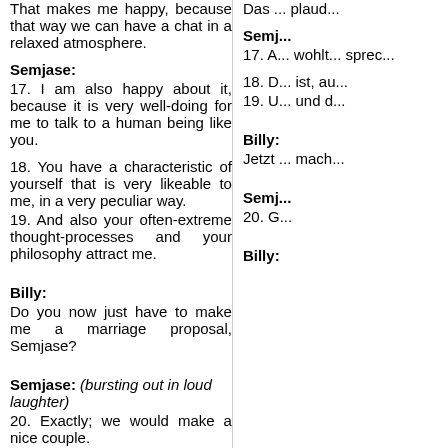That makes me happy, because that way we can have a chat in a relaxed atmosphere.
Das ... plaud...
Semjase:
17. I am also happy about it, because it is very well-doing for me to talk to a human being like you.
18. You have a characteristic of yourself that is very likeable to me, in a very peculiar way.
19. And also your often-extreme thought-processes and your philosophy attract me.
Billy:
Do you now just have to make me a marriage proposal, Semjase?
Semjase: (bursting out in loud laughter)
20. Exactly; we would make a nice couple.
Billy:
Semj:
17. A... wohlt... sprec...
18. D... ist, au...
19. U... und d...
Billy:
Jetzt ... mach...
Semj...
20. G...
Billy: